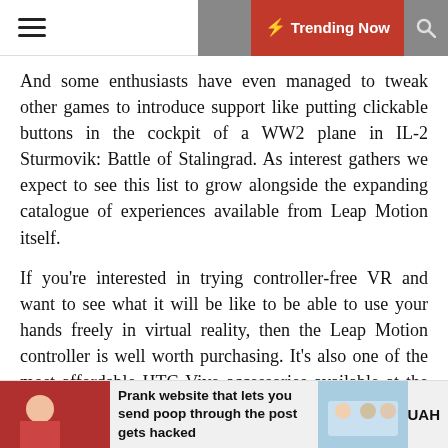☰  ☽  ⚡ Trending Now  🔍
And some enthusiasts have even managed to tweak other games to introduce support like putting clickable buttons in the cockpit of a WW2 plane in IL-2 Sturmovik: Battle of Stalingrad. As interest gathers we expect to see this list to grow alongside the expanding catalogue of experiences available from Leap Motion itself.
If you're interested in trying controller-free VR and want to see what it will be like to be able to use your hands freely in virtual reality, then the Leap Motion controller is well worth purchasing. It's also one of the most affordable HTC Vive accessories available at the moment.
Deluxe Audio Strap
Integrated audio
Prank website that lets you send poop through the post gets hacked  |  UAH